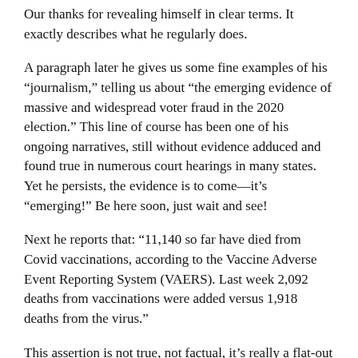Our thanks for revealing himself in clear terms. It exactly describes what he regularly does.
A paragraph later he gives us some fine examples of his “journalism,” telling us about “the emerging evidence of massive and widespread voter fraud in the 2020 election.” This line of course has been one of his ongoing narratives, still without evidence adduced and found true in numerous court hearings in many states. Yet he persists, the evidence is to come—it’s “emerging!” Be here soon, just wait and see!
Next he reports that: “11,140 so far have died from Covid vaccinations, according to the Vaccine Adverse Event Reporting System (VAERS). Last week 2,092 deaths from vaccinations were added versus 1,918 deaths from the virus.”
This assertion is not true, not factual, it’s really a flat-out lie. The VAERS death reports do not recount deaths “from covid vaccinations,”—they were not caused by the vaccines, they merely followed vaccinations, and could have been caused by multiple pre or post-vaccination health issues.